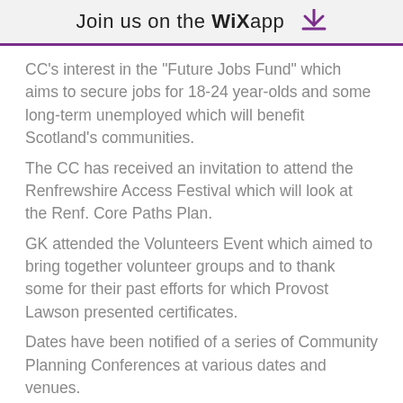Join us on the WiX app
CC's interest in the “Future Jobs Fund” which aims to secure jobs for 18-24 year-olds and some long-term unemployed which will benefit Scotland’s communities.
The CC has received an invitation to attend the Renfrewshire Access Festival which will look at the Renf. Core Paths Plan.
GK attended the Volunteers Event which aimed to bring together volunteer groups and to thank some for their past efforts for which Provost Lawson presented certificates.
Dates have been notified of a series of Community Planning Conferences at various dates and venues.